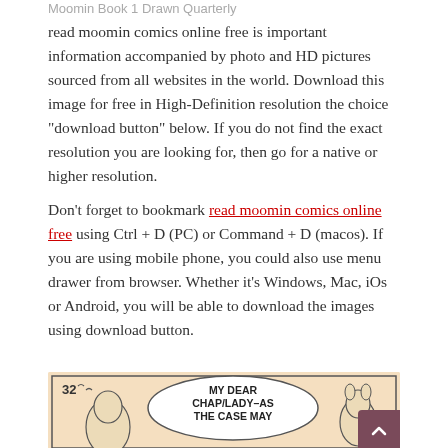Moomin Book 1 Drawn Quarterly
read moomin comics online free is important information accompanied by photo and HD pictures sourced from all websites in the world. Download this image for free in High-Definition resolution the choice "download button" below. If you do not find the exact resolution you are looking for, then go for a native or higher resolution.
Don't forget to bookmark read moomin comics online free using Ctrl + D (PC) or Command + D (macos). If you are using mobile phone, you could also use menu drawer from browser. Whether it's Windows, Mac, iOs or Android, you will be able to download the images using download button.
[Figure (illustration): Moomin comic strip panel showing panel number 32 with a speech bubble saying 'MY DEAR CHAP/LADY–AS THE CASE MAY BE/' and cartoon characters on a warm beige/orange background.]